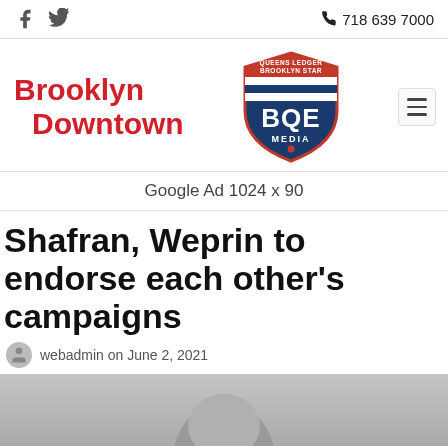Brooklyn Downtown | BQE Media | 718 639 7000
[Figure (logo): BQE Media shield logo with text Queens Ledger Brooklyn Star]
Google Ad  1024 x 90
Shafran, Weprin to endorse each other's campaigns
webadmin on June 2, 2021
[Figure (photo): Photo of a person, partially visible at the bottom of the page]